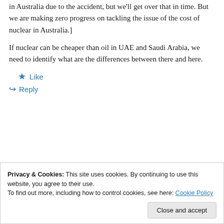in Australia due to the accident, but we'll get over that in time. But we are making zero progress on tackling the issue of the cost of nuclear in Australia.]
If nuclear can be cheaper than oil in UAE and Saudi Arabia, we need to identify what are the differences between there and here.
★ Like
↪ Reply
Privacy & Cookies: This site uses cookies. By continuing to use this website, you agree to their use.
To find out more, including how to control cookies, see here: Cookie Policy
Close and accept